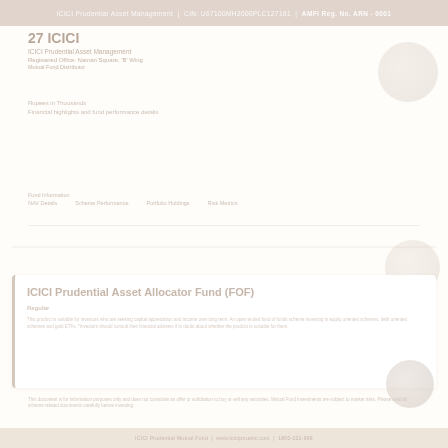ICICI Prudential Asset Management Company Limited | CIN: U67100MH2000PLC127161
27 ICICI Prudential Asset Management
ICICI Prudential Asset Management Company Limited
Registered Office: Naman Square, 'B' Wing
Mutual Fund Distributor
Rupees in Thousands
Financial figures and fund details
ICICI Prudential Asset Allocator Fund (FOF)
Regular
This product is suitable for investors who are seeking
This document is for information purposes only and does not constitute an offer or solicitation to buy or sell any securities.